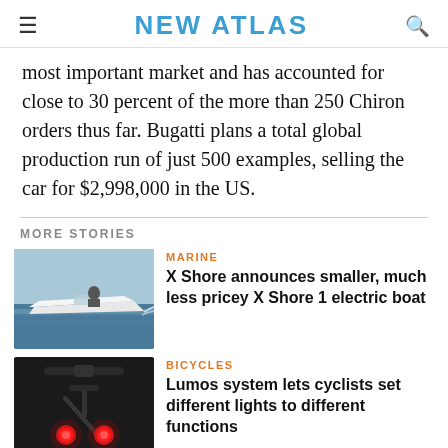NEW ATLAS
most important market and has accounted for close to 30 percent of the more than 250 Chiron orders thus far. Bugatti plans a total global production run of just 500 examples, selling the car for $2,998,000 in the US.
MORE STORIES
[Figure (photo): Electric boat on water, side view, white hull creating wake]
MARINE
X Shore announces smaller, much less pricey X Shore 1 electric boat
[Figure (photo): Close-up of bicycle rear with red lights glowing in dark setting]
BICYCLES
Lumos system lets cyclists set different lights to different functions